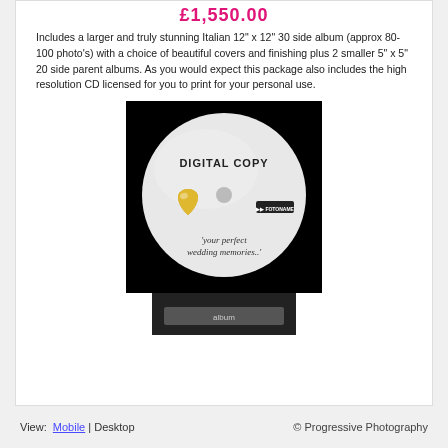£1,550.00
Includes a larger and truly stunning Italian 12" x 12" 30 side album (approx 80-100 photo's) with a choice of beautiful covers and finishing plus 2 smaller 5" x 5" 20 side parent albums. As you would expect this package also includes the high resolution CD licensed for you to print for your personal use.
[Figure (photo): A CD/DVD disc printed with 'DIGITAL COPY', a gold heart image, a small logo, and the text 'your perfect wedding memories..' on a white circular label, set against a black square background.]
[Figure (photo): Bottom portion of a small album or box, partially visible, with dark background.]
View: Mobile | Desktop  © Progressive Photography